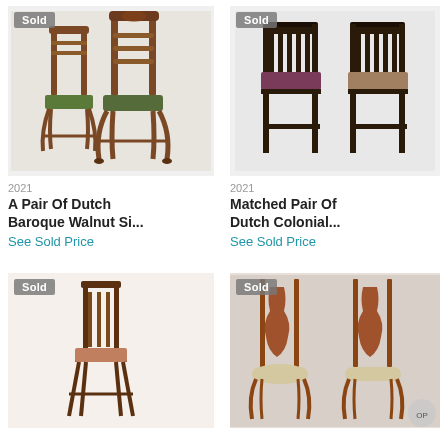[Figure (photo): A pair of Dutch Baroque walnut side chairs with carved backs and cabriole legs, 'Sold' badge in top-left corner]
2021
A Pair Of Dutch Baroque Walnut Si...
See Sold Price
[Figure (photo): A matched pair of Dutch Colonial low chairs with dark carved backs and upholstered seats, 'Sold' badge in top-left corner]
2021
Matched Pair Of Dutch Colonial...
See Sold Price
[Figure (photo): Single antique side chair with slatted back and striped upholstered seat, 'Sold' badge in top-left corner]
[Figure (photo): A pair of Queen Anne style mahogany side chairs with vase-shaped splats and upholstered seats, 'Sold' badge in top-left corner]